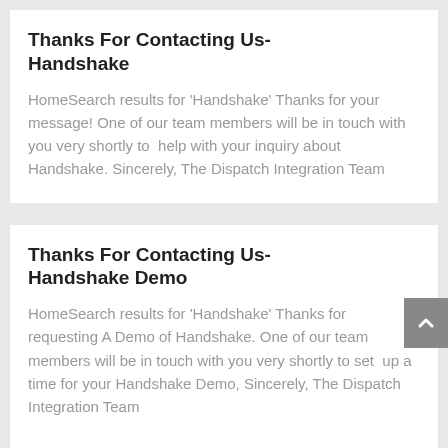Thanks For Contacting Us-Handshake
HomeSearch results for 'Handshake' Thanks for your message! One of our team members will be in touch with you very shortly to  help with your inquiry about Handshake. Sincerely, The Dispatch Integration Team
Thanks For Contacting Us-Handshake Demo
HomeSearch results for 'Handshake' Thanks for requesting A Demo of Handshake. One of our team members will be in touch with you very shortly to set  up a time for your Handshake Demo, Sincerely, The Dispatch Integration Team